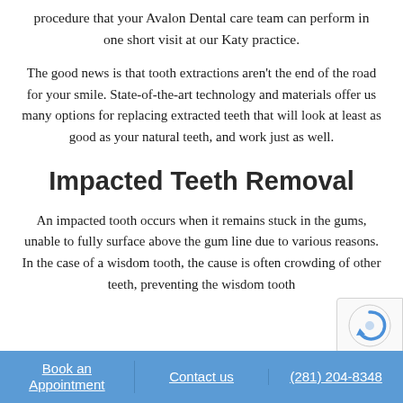procedure that your Avalon Dental care team can perform in one short visit at our Katy practice.
The good news is that tooth extractions aren't the end of the road for your smile. State-of-the-art technology and materials offer us many options for replacing extracted teeth that will look at least as good as your natural teeth, and work just as well.
Impacted Teeth Removal
An impacted tooth occurs when it remains stuck in the gums, unable to fully surface above the gum line due to various reasons. In the case of a wisdom tooth, the cause is often crowding of other teeth, preventing the wisdom tooth
Book an Appointment | Contact us | (281) 204-8348